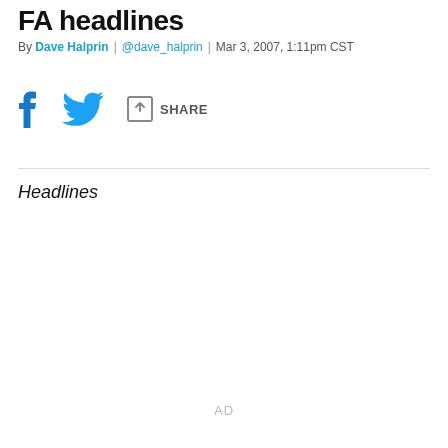FA headlines
By Dave Halprin | @dave_halprin | Mar 3, 2007, 1:11pm CST
[Figure (infographic): Social sharing bar with Facebook icon, Twitter bird icon, and share arrow icon with SHARE label]
Headlines
AD